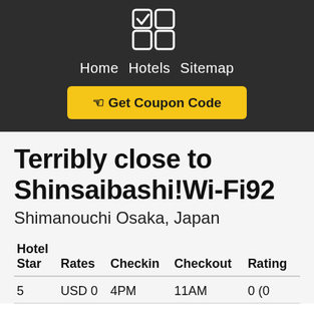Home  Hotels  Sitemap
Get Coupon Code
Terribly close to Shinsaibashi!Wi-Fi92
Shimanouchi Osaka, Japan
| Hotel Star | Rates | Checkin | Checkout | Rating |
| --- | --- | --- | --- | --- |
| 5 | USD 0 | 4PM | 11AM | 0 (0 |